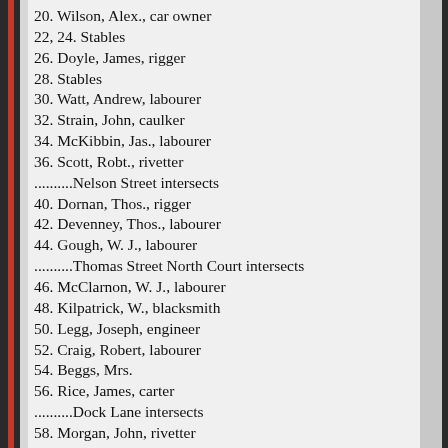20. Wilson, Alex., car owner
22, 24. Stables
26. Doyle, James, rigger
28. Stables
30. Watt, Andrew, labourer
32. Strain, John, caulker
34. McKibbin, Jas., labourer
36. Scott, Robt., rivetter
..........Nelson Street intersects
40. Dornan, Thos., rigger
42. Devenney, Thos., labourer
44. Gough, W. J., labourer
..........Thomas Street North Court intersects
46. McClarnon, W. J., labourer
48. Kilpatrick, W., blacksmith
50. Legg, Joseph, engineer
52. Craig, Robert, labourer
54. Beggs, Mrs.
56. Rice, James, carter
..........Dock Lane intersects
58. Morgan, John, rivetter
60. Hurst, John, labourer
62. Turner, Samuel, carter
64. Side door